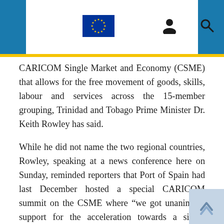Navigation bar with hamburger menu, EU flag, person icon, and search icon
CARICOM Single Market and Economy (CSME) that allows for the free movement of goods, skills, labour and services across the 15-member grouping, Trinidad and Tobago Prime Minister Dr. Keith Rowley has said.
While he did not name the two regional countries, Rowley, speaking at a news conference here on Sunday, reminded reporters that Port of Spain had last December hosted a special CARICOM summit on the CSME where “we got unanimous support for the acceleration towards a single market and economy.
“In that arrangement is the whole question of freedom of movement of individuals…among the territories, everybody agreed to that (but) by the